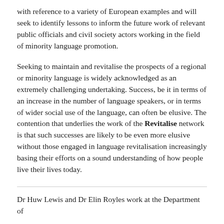with reference to a variety of European examples and will seek to identify lessons to inform the future work of relevant public officials and civil society actors working in the field of minority language promotion.
Seeking to maintain and revitalise the prospects of a regional or minority language is widely acknowledged as an extremely challenging undertaking. Success, be it in terms of an increase in the number of language speakers, or in terms of wider social use of the language, can often be elusive. The contention that underlies the work of the Revitalise network is that such successes are likely to be even more elusive without those engaged in language revitalisation increasingly basing their efforts on a sound understanding of how people live their lives today.
Dr Huw Lewis and Dr Elin Royles work at the Department of